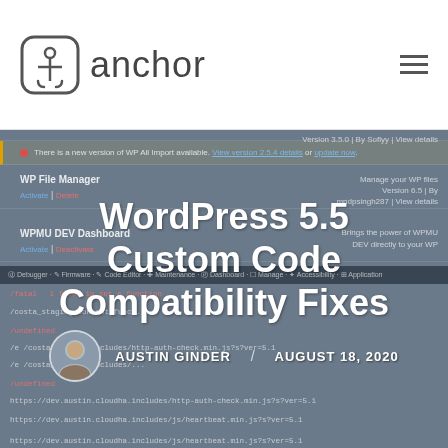anchor
[Figure (screenshot): WordPress admin plugins page screenshot used as background, showing WP File Manager, WPMU DEV Dashboard plugins and a WP All Import update notice, with code paths visible]
WordPress 5.5 Custom Code Compatibility Fixes
AUSTIN GINDER  /  AUGUST 18, 2020